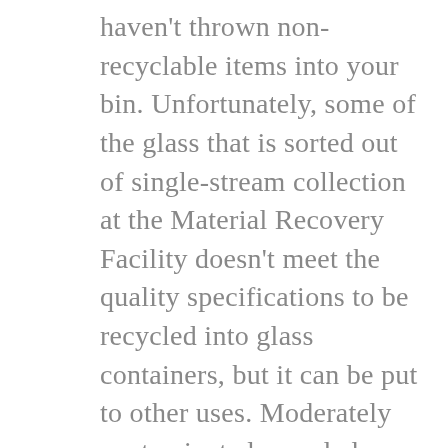haven't thrown non-recyclable items into your bin. Unfortunately, some of the glass that is sorted out of single-stream collection at the Material Recovery Facility doesn't meet the quality specifications to be recycled into glass containers, but it can be put to other uses. Moderately contaminated recycled glass is often used in construction for aggregate in road beds and decorative concrete or for fiberglass insulation. Highly contaminated glass can be used as landfill cover, which is better than